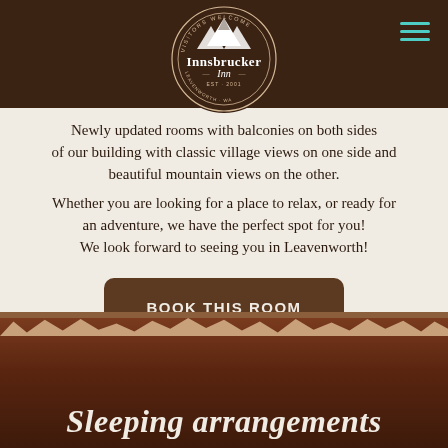[Figure (logo): Innsbrucker Inn circular logo with mountain peaks and 'VISITORS WELCOME' text around the border]
Newly updated rooms with balconies on both sides of our building with classic village views on one side and beautiful mountain views on the other. Whether you are looking for a place to relax, or ready for an adventure, we have the perfect spot for you! We look forward to seeing you in Leavenworth!
BOOK THIS ROOM
GALLERY
Sleeping arrangements